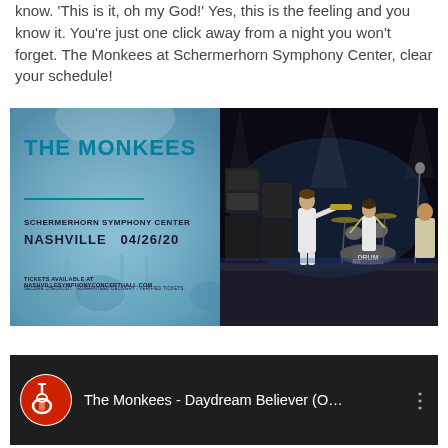know. 'This is it, oh my God!' Yes, this is the feeling and you know it. You're just one click away from a night you won't forget. The Monkees at Schermerhorn Symphony Center, clear your schedule!
[Figure (photo): Concert advertisement for The Monkees at Schermerhorn Symphony Center, Nashville 04/26/20, split with a vintage concert photo of The Monkees performing on stage]
[Figure (screenshot): YouTube video card thumbnail for 'The Monkees - Daydream Believer (O...' with The Monkees logo in a circular icon on left and three-dot menu icon on right]